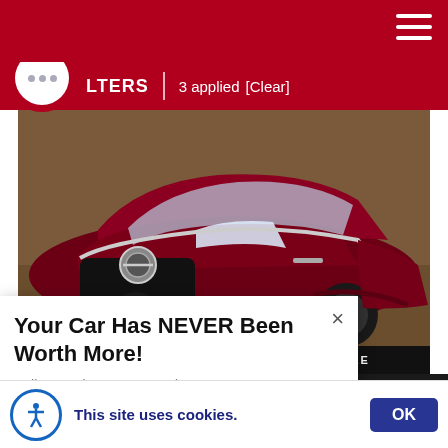FILTERS | 3 applied [Clear]
[Figure (photo): Front 3/4 view of a dark red/maroon Nissan SUV (Pathfinder or similar) parked on a dirt/gravel surface]
CONTACT US TO RESERVE THIS VEHICLE
Your Car Has NEVER Been Worth More!
Sell or Trade Your Car Today.
This site uses cookies.
OK